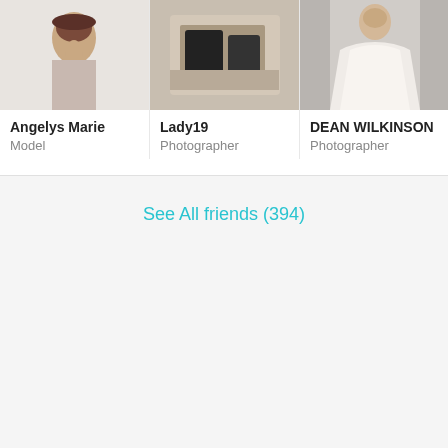[Figure (photo): Profile photo of Angelys Marie - woman with updo hairstyle against light background]
Angelys Marie
Model
[Figure (photo): Profile photo of Lady19 - overhead shot of shoes/items on floor]
Lady19
Photographer
[Figure (photo): Profile photo of DEAN WILKINSON - person in white flowing dress]
DEAN WILKINSON
Photographer
See All friends (394)